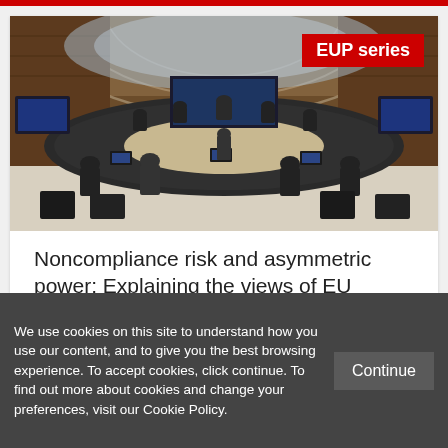[Figure (photo): A large circular meeting room, likely an EU Council chamber, with delegates seated around curved tables. Wood-paneled walls, overhead lighting rigs, and large display screens visible. The room appears to be in session with many people seated.]
Noncompliance risk and asymmetric power: Explaining the views of EU member states on economic governance reforms
We use cookies on this site to understand how you use our content, and to give you the best browsing experience. To accept cookies, click continue. To find out more about cookies and change your preferences, visit our Cookie Policy.